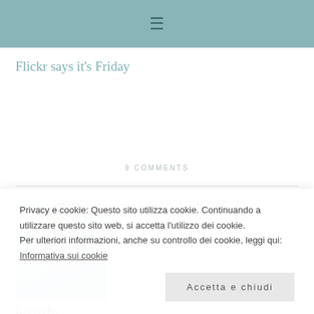≡
Flickr says it's Friday
9 COMMENTS
[Figure (photo): Photo of a person wearing headphones, used as bio/profile photo for Ilaria Chiaratti]
INFO ILARIA CHIARATTI
Privacy e cookie: Questo sito utilizza cookie. Continuando a utilizzare questo sito web, si accetta l'utilizzo dei cookie.
Per ulteriori informazioni, anche su controllo dei cookie, leggi qui:
Informativa sui cookie
Accetta e chiudi
lifestyle.